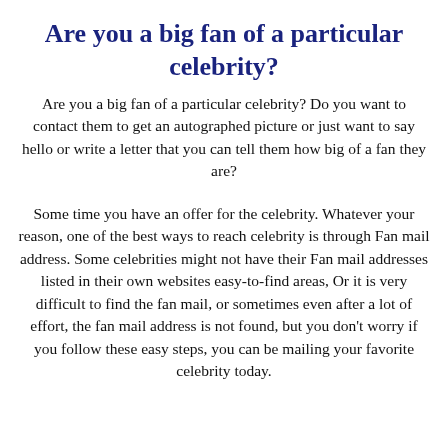Are you a big fan of a particular celebrity?
Are you a big fan of a particular celebrity? Do you want to contact them to get an autographed picture or just want to say hello or write a letter that you can tell them how big of a fan they are?
Some time you have an offer for the celebrity. Whatever your reason, one of the best ways to reach celebrity is through Fan mail address. Some celebrities might not have their Fan mail addresses listed in their own websites easy-to-find areas, Or it is very difficult to find the fan mail, or sometimes even after a lot of effort, the fan mail address is not found, but you don’t worry if you follow these easy steps, you can be mailing your favorite celebrity today.